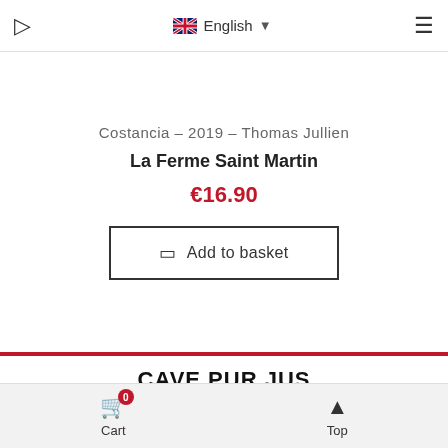English
Costancia – 2019 – Thomas Jullien
La Ferme Saint Martin
€16.90
Add to basket
CAVE PUR JUS
Who is Pur Jus ?
Cart  Top